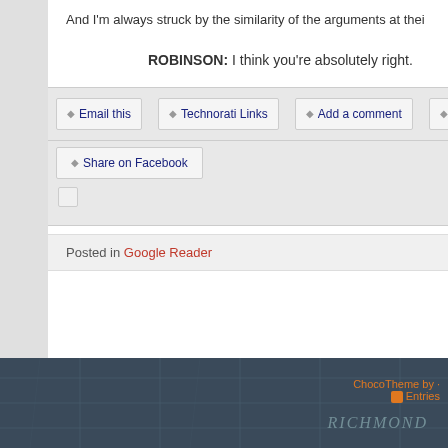And I'm always struck by the similarity of the arguments at thei
ROBINSON: I think you're absolutely right.
Email this
Technorati Links
Add a comment
Save t
Share on Facebook
Posted in Google Reader
ChocoTheme by · Entries